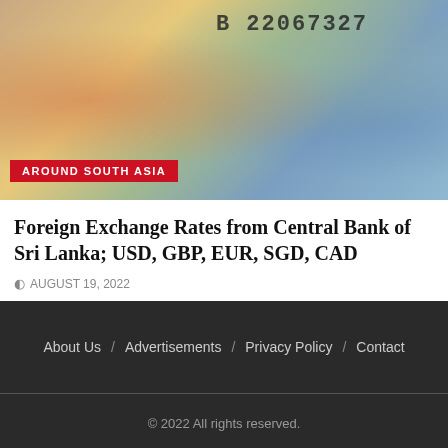[Figure (photo): Close-up photo of various currency banknotes including what appears to be South Asian and international currencies, with a serial number B22067327 visible on one note.]
AROUND SOUTH ASIA
Foreign Exchange Rates from Central Bank of Sri Lanka; USD, GBP, EUR, SGD, CAD
AUGUST 19, 2022
About Us / Advertisements / Privacy Policy / Contact
© 2022 All rights reserved.